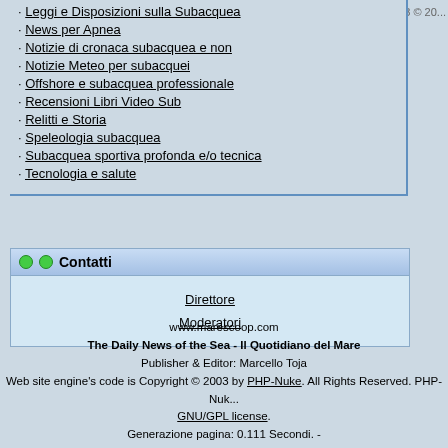· Leggi e Disposizioni sulla Subacquea
· News per Apnea
· Notizie di cronaca subacquea e non
· Notizie Meteo per subacquei
· Offshore e subacquea professionale
· Recensioni Libri Video Sub
· Relitti e Storia
· Speleologia subacquea
· Subacquea sportiva profonda e/o tecnica
· Tecnologia e salute
Powered by phpBB 2.0.13 © 20...
Contatti
Direttore
Moderatori
www.marescoop.com
The Daily News of the Sea - Il Quotidiano del Mare
Publisher & Editor: Marcello Toja
Web site engine's code is Copyright © 2003 by PHP-Nuke. All Rights Reserved. PHP-Nuke is Free Software released under the GNU/GPL license.
Generazione pagina: 0.111 Secondi. -